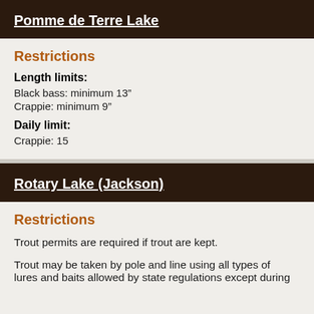Pomme de Terre Lake
Restrictions
Length limits:
Black bass: minimum 13”
Crappie: minimum 9”
Daily limit:
Crappie: 15
Rotary Lake (Jackson)
Restrictions
Trout permits are required if trout are kept.
Trout may be taken by pole and line using all types of lures and baits allowed by state regulations except during